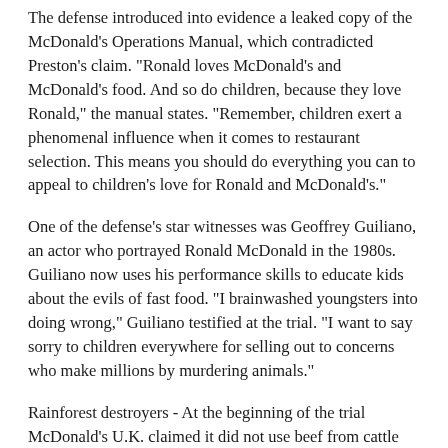The defense introduced into evidence a leaked copy of the McDonald's Operations Manual, which contradicted Preston's claim. "Ronald loves McDonald's and McDonald's food. And so do children, because they love Ronald," the manual states. "Remember, children exert a phenomenal influence when it comes to restaurant selection. This means you should do everything you can to appeal to children's love for Ronald and McDonald's."
One of the defense's star witnesses was Geoffrey Guiliano, an actor who portrayed Ronald McDonald in the 1980s. Guiliano now uses his performance skills to educate kids about the evils of fast food. "I brainwashed youngsters into doing wrong," Guiliano testified at the trial. "I want to say sorry to children everywhere for selling out to concerns who make millions by murdering animals."
Rainforest destroyers - At the beginning of the trial McDonald's U.K. claimed it did not use beef from cattle reared on recently deforested rainforest land. Furthermore, it claimed to have a policy of not using beef that originated outside the European Union. Walker testified that in 1983 and 1984 McDonald's had knowingly purchased hamburgers from beef that had been imported from Brazil, a rainforest country. When asked if this was a breach of company policy, McDonald's U.K. chief purchasing officer